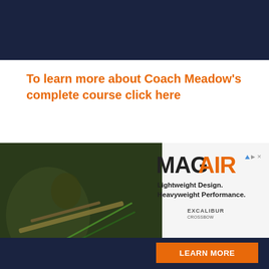[Figure (other): Dark navy blue banner at top of page]
To learn more about Coach Meadow's complete course click here
#3 Counter Read with Sweep
If you have a QB who is a runner, this play can give you some mileage on the ground.  Bill Durkin, OL Coach at Coastal Carolina shows how they use the counter scheme... [play that c...]
[Figure (advertisement): MAG AIR advertisement by Excalibur crossbow with LEARN MORE button. Shows crossbow photo on left, MAG AIR text logo, tagline Lightweight Design. Heavyweight Performance.]